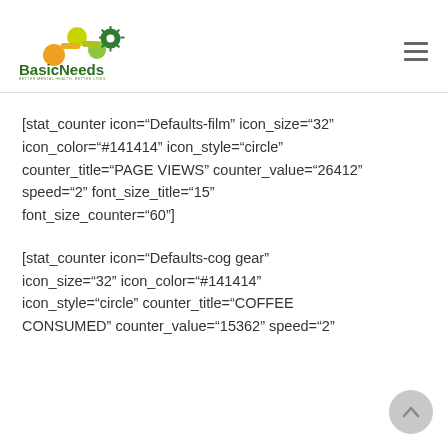[Figure (logo): BasicNeeds logo with colorful gear/molecule icon and tagline 'BETTER MENTAL HEALTH. BETTER LIVES.']
[stat_counter icon="Defaults-film" icon_size="32" icon_color="#141414" icon_style="circle" counter_title="PAGE VIEWS" counter_value="26412" speed="2" font_size_title="15" font_size_counter="60"]
[stat_counter icon="Defaults-cog gear" icon_size="32" icon_color="#141414" icon_style="circle" counter_title="COFFEE CONSUMED" counter_value="15362" speed="2"